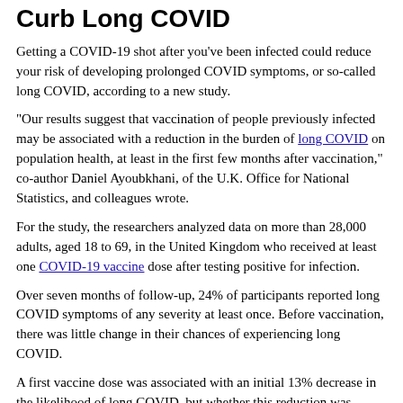Curb Long COVID
Getting a COVID-19 shot after you've been infected could reduce your risk of developing prolonged COVID symptoms, or so-called long COVID, according to a new study.
"Our results suggest that vaccination of people previously infected may be associated with a reduction in the burden of long COVID on population health, at least in the first few months after vaccination," co-author Daniel Ayoubkhani, of the U.K. Office for National Statistics, and colleagues wrote.
For the study, the researchers analyzed data on more than 28,000 adults, aged 18 to 69, in the United Kingdom who received at least one COVID-19 vaccine dose after testing positive for infection.
Over seven months of follow-up, 24% of participants reported long COVID symptoms of any severity at least once. Before vaccination, there was little change in their chances of experiencing long COVID.
A first vaccine dose was associated with an initial 13% decrease in the likelihood of long COVID, but whether this reduction was sustained until the participants received another vaccine dose 12 weeks later is unclear.